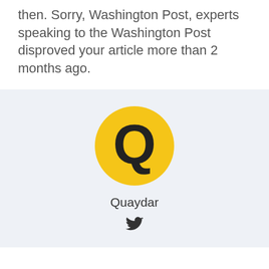then. Sorry, Washington Post, experts speaking to the Washington Post disproved your article more than 2 months ago.
[Figure (illustration): Author card with yellow circular avatar containing bold Q letter, username 'Quaydar', and Twitter bird icon below, on a light blue-grey background]
[Figure (infographic): Bottom navigation bar with Facebook icon, Twitter bird icon, and circular up-arrow icon]